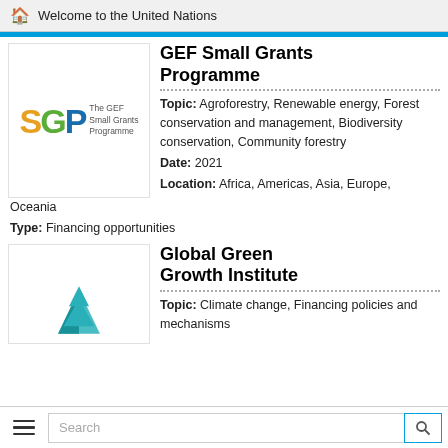Welcome to the United Nations
GEF Small Grants Programme
Topic: Agroforestry, Renewable energy, Forest conservation and management, Biodiversity conservation, Community forestry
Date: 2021
Location: Africa, Americas, Asia, Europe, Oceania
Type: Financing opportunities
Global Green Growth Institute
Topic: Climate change, Financing policies and mechanisms